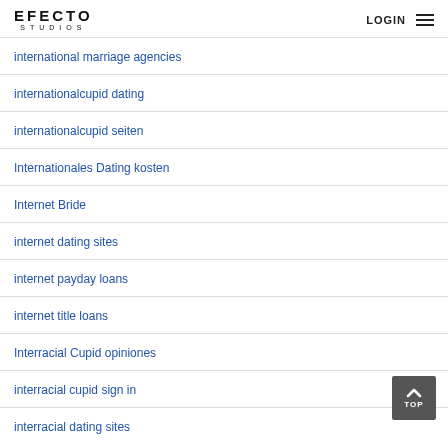EFECTO STUDIOS | LOGIN
international marriage agencies
internationalcupid dating
internationalcupid seiten
Internationales Dating kosten
Internet Bride
internet dating sites
internet payday loans
internet title loans
Interracial Cupid opiniones
interracial cupid sign in
interracial dating sites